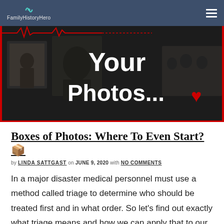FamilyHistoryHero
[Figure (photo): Hero banner image showing vintage black and white family photos in the background with bold white text reading 'Your Photos...' and a red heart emoji. Red ECG/heartbeat lines visible at the top of the banner. Dark overlay background.]
Boxes of Photos: Where To Even Start? 📦
by LINDA SATTGAST on JUNE 9, 2020 with NO COMMENTS
In a major disaster medical personnel must use a method called triage to determine who should be treated first and in what order. So let's find out exactly what triage means and how we can apply that to our boxes … Read More